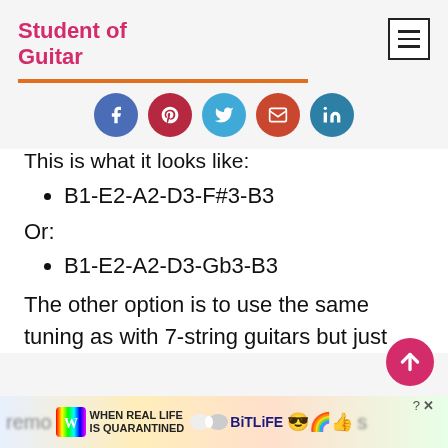Student of Guitar
[Figure (infographic): Five social sharing circle icons: Facebook (blue), Pinterest (dark red), Twitter (light blue), Email (red-orange), LinkedIn (teal blue)]
This is what it looks like:
B1-E2-A2-D3-F#3-B3
Or:
B1-E2-A2-D3-Gb3-B3
The other option is to use the same tuning as with 7-string guitars but just remo... s